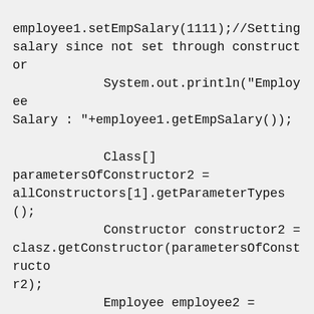employee1.setEmpSalary(1111);//Setting salary since not set through constructor
            System.out.println("Employee Salary : "+employee1.getEmpSalary());

            Class[] parametersOfConstructor2 = allConstructors[1].getParameterTypes();
            Constructor constructor2 = clasz.getConstructor(parametersOfConstructor2);
            Employee employee2 = (Employee)constructor2.newInstance(2,"JavaInterviewPoint22",22222);

System.out.println("***Employee2 Values***");
            System.out.println("Employee Id